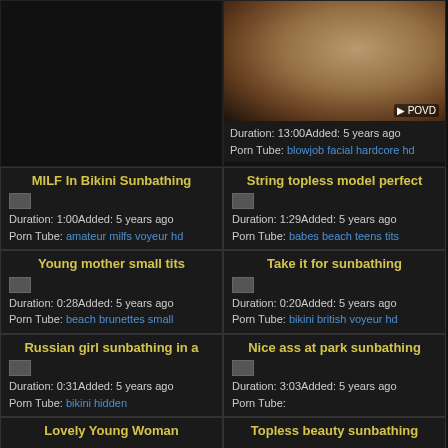[Figure (photo): Video thumbnail showing explicit content with POVD watermark]
Duration: 13:00Added: 5 years ago
Porn Tube: blowjob facial hardcore hd
MILF In Bikini Sunbathing
Duration: 1:00Added: 5 years ago
Porn Tube: amateur milfs voyeur hd
String topless model perfect
Duration: 1:29Added: 5 years ago
Porn Tube: babes beach teens tits
Young mother small tits
Duration: 0:28Added: 5 years ago
Porn Tube: beach brunettes small
Take it for sunbathing
Duration: 0:20Added: 5 years ago
Porn Tube: bikini british voyeur hd
Russian girl sunbathing in a
Duration: 0:31Added: 5 years ago
Porn Tube: bikini hidden
Nice ass at park sunbathing
Duration: 3:03Added: 5 years ago
Porn Tube:
Lovely Young Woman
Topless beauty sunbathing